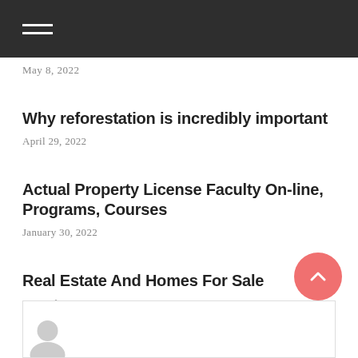May 8, 2022
Why reforestation is incredibly important
April 29, 2022
Actual Property License Faculty On-line, Programs, Courses
January 30, 2022
Real Estate And Homes For Sale
September 22, 2021